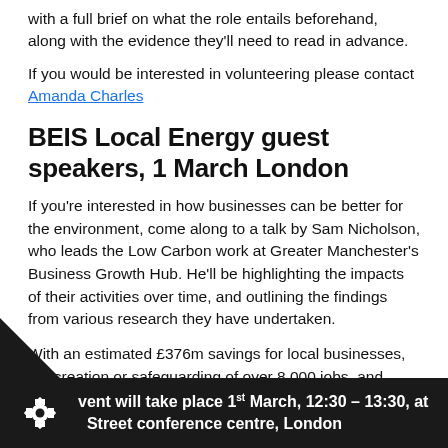with a full brief on what the role entails beforehand, along with the evidence they'll need to read in advance.
If you would be interested in volunteering please contact Amanda Charles
BEIS Local Energy guest speakers, 1 March London
If you're interested in how businesses can be better for the environment, come along to a talk by Sam Nicholson, who leads the Low Carbon work at Greater Manchester's Business Growth Hub. He'll be highlighting the impacts of their activities over time, and outlining the findings from various research they have undertaken.
With an estimated £376m savings for local businesses, the creation or safeguarding of over 8,000 jobs, and reduction of carbon emissions by over 1.5m tonnes, it's impressive work. Come and find out how they did it!
The event will take place 1st March, 12:30 – 13:30, at … Street conference centre, London